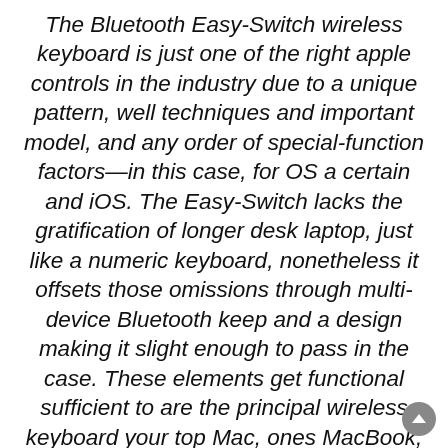The Bluetooth Easy-Switch wireless keyboard is just one of the right apple controls in the industry due to a unique pattern, well techniques and important model, and any order of special-function factors—in this case, for OS a certain and iOS. The Easy-Switch lacks the gratification of longer desk laptop, just like a numeric keyboard, nonetheless it offsets those omissions through multi-device Bluetooth keep and a design making it slight enough to pass in the case. These elements get functional sufficient to are the principal wireless keyboard your top Mac, ones MacBook, and your apple or iPhone—without surrendering full size secrets or an ordinary vital theme.